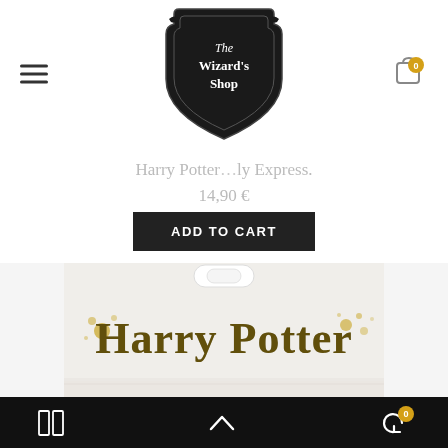[Figure (logo): The Wizard's Shop logo — black shield with gothic white text 'The Wizard's Shop' and scroll banner decorations]
Harry Potter ... ly Express.
14,90 €
ADD TO CART
[Figure (photo): Harry Potter branded product packaging showing gold-styled Harry Potter logo text on white background with ink splatter decorations]
Bottom toolbar with grid icon, chevron-up icon, and back/refresh icon with badge 0